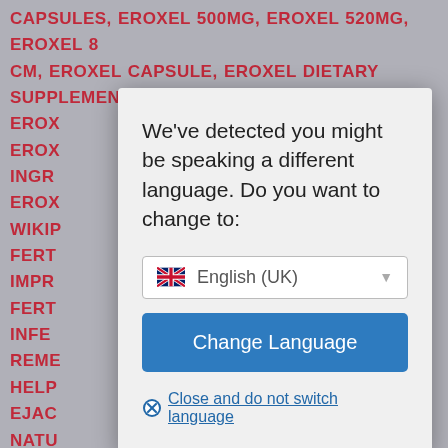CAPSULES, EROXEL 500MG, EROXEL 520MG, EROXEL 8 CM, EROXEL CAPSULE, EROXEL DIETARY SUPPLEMENT, EROX... EROX... INGR... ET, EROX... WIKIP... FERT... IMPR... FERT... INFE... URAL REME... LF HELP... EJAC... NATU... ELF HELP... BOOS... LOW ... S. LOW LIBIDO SELF HELP, LOW TESTOSTERONE SELF HELP, MALE FERTILITY, MALE FERTILITY HERBS, MALE FERTILITY NATURAL BOOSTER, MEN'S HEALTH, MEN'S HEALTH ISSUES, MEN'S ISSUES, NATURAL FERTILITY
We've detected you might be speaking a different language. Do you want to change to:
English (UK)
Change Language
Close and do not switch language